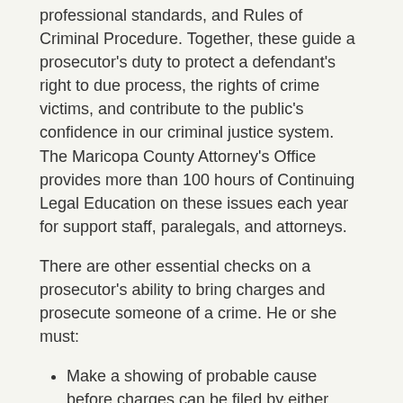professional standards, and Rules of Criminal Procedure. Together, these guide a prosecutor's duty to protect a defendant's right to due process, the rights of crime victims, and contribute to the public's confidence in our criminal justice system. The Maricopa County Attorney's Office provides more than 100 hours of Continuing Legal Education on these issues each year for support staff, paralegals, and attorneys.
There are other essential checks on a prosecutor's ability to bring charges and prosecute someone of a crime. He or she must:
Make a showing of probable cause before charges can be filed by either obtaining a Grand Jury indictment or a finding of probable cause from a Judge.
Present any exculpatory evidence before the Grand Jury.
Disclose exculpatory evidence that can help the defense.
Disclose information that could affect the credibility of a witness for either the defense or the prosecution.